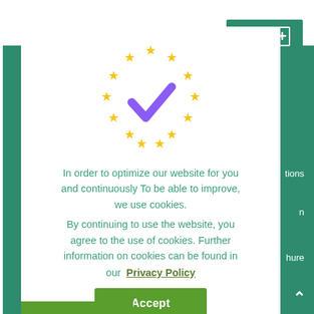[Figure (screenshot): Cookie consent modal dialog overlaid on a green website background. The modal contains a circular arrangement of yellow stars with a purple checkmark in the center (EU-style icon), cookie consent text, a Privacy Policy link, and Accept/Reject buttons.]
In order to optimize our website for you and continuously To be able to improve, we use cookies.
By continuing to use the website, you agree to the use of cookies. Further information on cookies can be found in our Privacy Policy
Accept
Reject